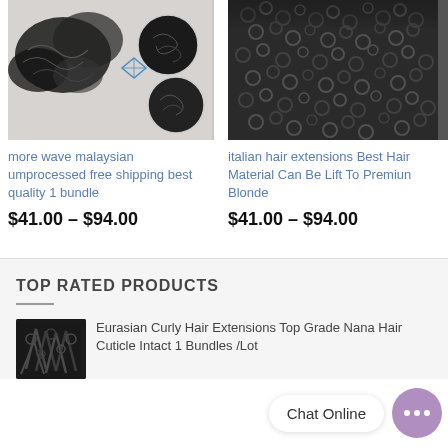[Figure (photo): Product photo of wavy Malaysian hair bundle with circular inset samples on light background]
more wave malaysian umprocessed free shipping best quality 1 bundle
$41.00 – $94.00
[Figure (photo): Product photo of curly Italian hair extensions, dark and tightly coiled texture on dark background]
italian hair extensions Best Hair Material Can Be Lift To Premium Blonde
$41.00 – $94.00
TOP RATED PRODUCTS
[Figure (photo): Small thumbnail of Eurasian curly hair extensions, dark curls]
Eurasian Curly Hair Extensions Top Grade Nana Hair Cuticle Intact 1 Bundles /Lot